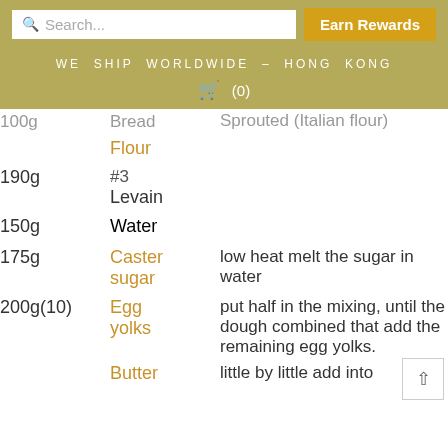Search... | Earn Rewards | WE SHIP WORLDWIDE – HONG KONG | (0)
| Amount | Ingredient | Instructions |
| --- | --- | --- |
| 100g (cut off) | Bread Flour (Italian flour) |  |
| 190g | #3 Levain |  |
| 150g | Water |  |
| 175g | Caster sugar | low heat melt the sugar in water |
| 200g(10) | Egg yolks | put half in the mixing, until the dough combined that add the remaining egg yolks. |
|  | Butter | little by little add into |